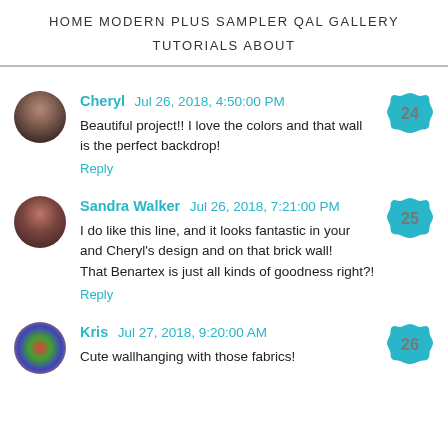HOME  MODERN PLUS SAMPLER QAL  GALLERY  TUTORIALS  ABOUT
Cheryl  Jul 26, 2018, 4:50:00 PM
Beautiful project!! I love the colors and that wall is the perfect backdrop!
Reply
[badge: 24]
Sandra Walker  Jul 26, 2018, 7:21:00 PM
I do like this line, and it looks fantastic in your and Cheryl's design and on that brick wall! That Benartex is just all kinds of goodness right?!
Reply
[badge: 25]
Kris  Jul 27, 2018, 9:20:00 AM
Cute wallhanging with those fabrics!
[badge: 26]